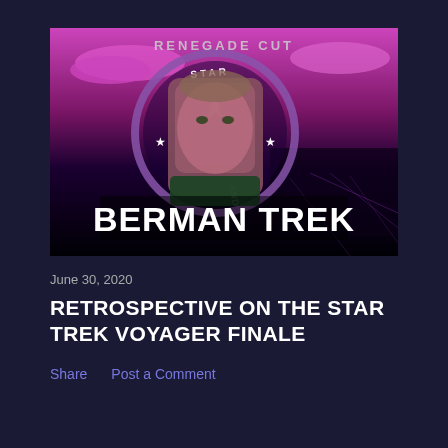[Figure (screenshot): Thumbnail image for 'Berman Trek' video. Shows a man's face over a purple/pink sci-fi background with a Star Trek-style insignia badge. Text 'RENEGADE CUT' appears at the top and 'BERMAN TREK' in large white bold letters at the bottom. Star Trek: Command badge/logo visible behind the person.]
June 30, 2020
RETROSPECTIVE ON THE STAR TREK VOYAGER FINALE
Share   Post a Comment